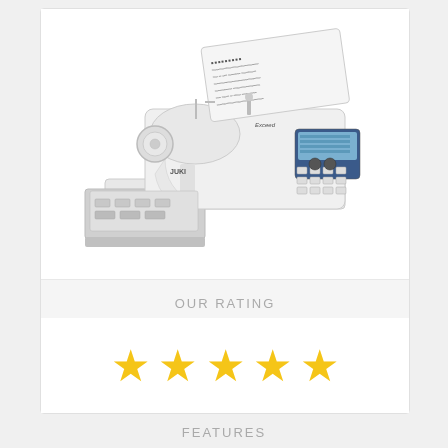[Figure (photo): White JUKI computerized sewing machine (Exceed series) with open accessory drawer showing presser feet and accessories, quilting extension table visible, LCD display and button panel on right side, manual/chart panel open at top.]
OUR RATING
[Figure (other): Five gold/yellow star rating icons displayed in a row indicating a 5-star rating.]
FEATURES